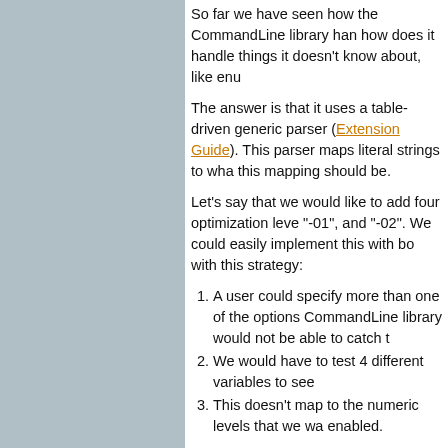So far we have seen how the CommandLine library handles things it knows about, how does it handle things it doesn't know about, like enumerations?
The answer is that it uses a table-driven generic parser (described in the Extension Guide). This parser maps literal strings to what the mapping should be.
Let's say that we would like to add four optimization levels: "-01", and "-02". We could easily implement this with boolean flags with this strategy:
A user could specify more than one of the options. The CommandLine library would not be able to catch this.
We would have to test 4 different variables to see.
This doesn't map to the numeric levels that we want enabled.
To cope with these problems, we can use an enum value appropriate level directly, which is used like this:
enum OptLevel {
  g, O1, O2, O3
};